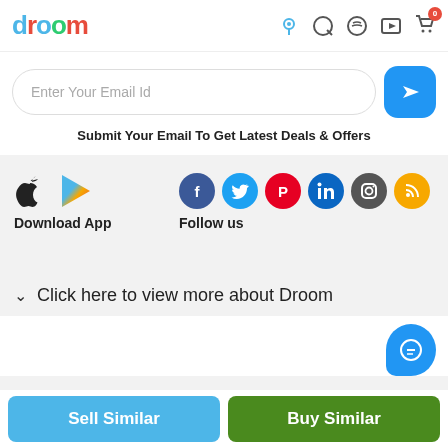droom
Enter Your Email Id
Submit Your Email To Get Latest Deals & Offers
[Figure (logo): Apple App Store icon and Google Play arrow icon with label 'Download App']
[Figure (logo): Social media icons: Facebook, Twitter, Pinterest, LinkedIn, Instagram, RSS with label 'Follow us']
Click here to view more about Droom
Sell Similar
Buy Similar